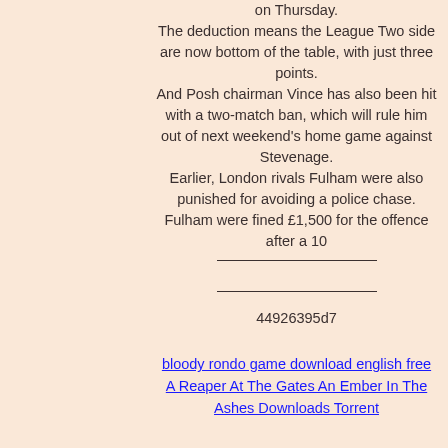on Thursday. The deduction means the League Two side are now bottom of the table, with just three points. And Posh chairman Vince has also been hit with a two-match ban, which will rule him out of next weekend's home game against Stevenage. Earlier, London rivals Fulham were also punished for avoiding a police chase. Fulham were fined £1,500 for the offence after a 10
44926395d7
bloody rondo game download english free
A Reaper At The Gates An Ember In The Ashes Downloads Torrent